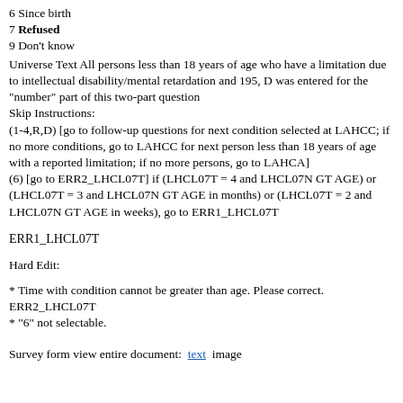6 Since birth
7 Refused
9 Don't know
Universe Text All persons less than 18 years of age who have a limitation due to intellectual disability/mental retardation and 195, D was entered for the "number" part of this two-part question
Skip Instructions:
(1-4,R,D) [go to follow-up questions for next condition selected at LAHCC; if no more conditions, go to LAHCC for next person less than 18 years of age with a reported limitation; if no more persons, go to LAHCA]
(6) [go to ERR2_LHCL07T] if (LHCL07T = 4 and LHCL07N GT AGE) or (LHCL07T = 3 and LHCL07N GT AGE in months) or (LHCL07T = 2 and LHCL07N GT AGE in weeks), go to ERR1_LHCL07T
ERR1_LHCL07T
Hard Edit:
* Time with condition cannot be greater than age. Please correct.
ERR2_LHCL07T
* "6" not selectable.
Survey form view entire document:  text  image